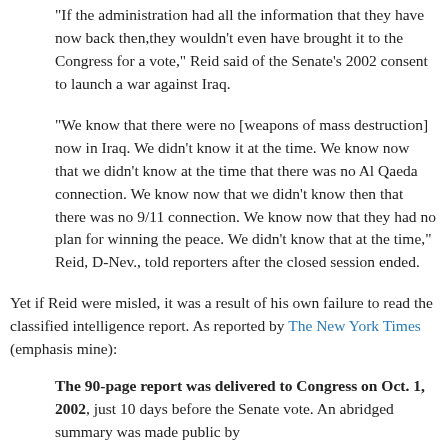"If the administration had all the information that they have now back then,they wouldn't even have brought it to the Congress for a vote," Reid said of the Senate's 2002 consent to launch a war against Iraq.
"We know that there were no [weapons of mass destruction] now in Iraq. We didn't know it at the time. We know now that we didn't know at the time that there was no Al Qaeda connection. We know now that we didn't know then that there was no 9/11 connection. We know now that they had no plan for winning the peace. We didn't know that at the time," Reid, D-Nev., told reporters after the closed session ended.
Yet if Reid were misled, it was a result of his own failure to read the classified intelligence report. As reported by The New York Times (emphasis mine):
The 90-page report was delivered to Congress on Oct. 1, 2002, just 10 days before the Senate vote. An abridged summary was made public by